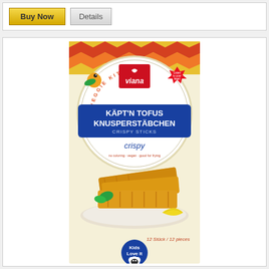[Figure (screenshot): Two buttons: a yellow 'Buy Now' button and a grey 'Details' button inside a white bordered box]
[Figure (photo): Product package of Viana Käpt'n Tofus Knusperstäbchen (Crispy Sticks) - a vegan tofu fish stick product with blue and cream colored box, showing crispy tofu sticks on a plate with lemon, Kids Love It badge, 12 pieces/12 Stück, Veggie Kitchen branding]